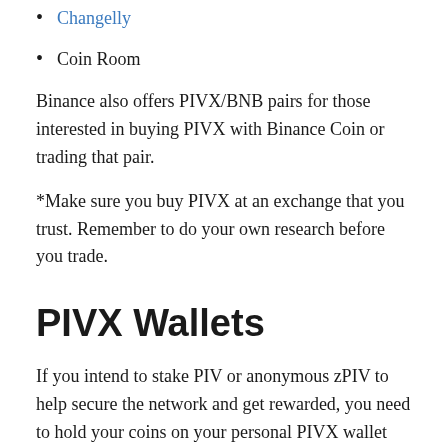Changelly
Coin Room
Binance also offers PIVX/BNB pairs for those interested in buying PIVX with Binance Coin or trading that pair.
*Make sure you buy PIVX at an exchange that you trust. Remember to do your own research before you trade.
PIVX Wallets
If you intend to stake PIV or anonymous zPIV to help secure the network and get rewarded, you need to hold your coins on your personal PIVX wallet which is available for a range of desktop operating systems. PIVX